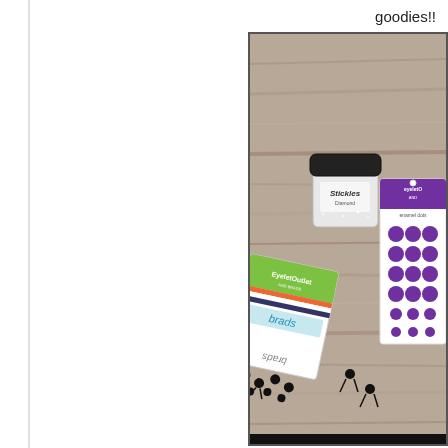goodies!!
[Figure (photo): Photograph of craft supplies on a wood grain surface: a package of black brads from Eyelet Outlet, a jar of white/silver glitter with black lid, and a card of purple adhesive dots, all laid out on a rustic wooden background.]